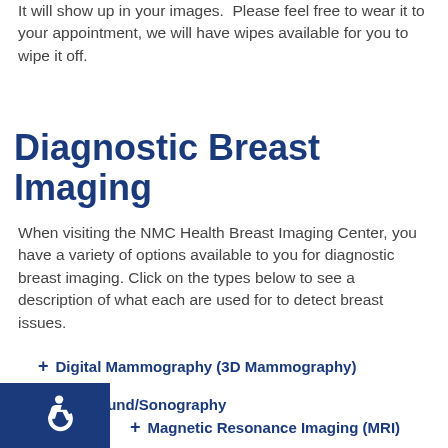It will show up in your images.  Please feel free to wear it to your appointment, we will have wipes available for you to wipe it off.
Diagnostic Breast Imaging
When visiting the NMC Health Breast Imaging Center, you have a variety of options available to you for diagnostic breast imaging. Click on the types below to see a description of what each are used for to detect breast issues.
+ Digital Mammography (3D Mammography)
+ Ultrasound/Sonography
+ Magnetic Resonance Imaging (MRI)